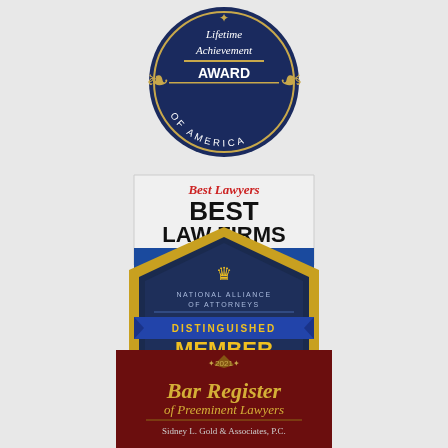[Figure (logo): Lifetime Achievement Award of America badge - circular dark navy blue medallion with laurel wreaths and text 'Lifetime Achievement AWARD OF AMERICA']
[Figure (logo): Best Lawyers Best Law Firms U.S. News & World Report 2022 badge - shield shaped badge with red Best Lawyers text, large black BEST LAW FIRMS text, blue U.S. News banner and 2022 date]
[Figure (logo): National Alliance of Attorneys Distinguished Member Attorney of the Year 2021 badge - dark navy hexagonal badge with gold border, crown icon, yellow DISTINGUISHED MEMBER text, blue ribbon banners]
[Figure (logo): Bar Register of Preeminent Lawyers 2021 - Sidney L. Gold & Associates, P.C. - dark maroon/burgundy rectangular badge with gold emblem and script text]